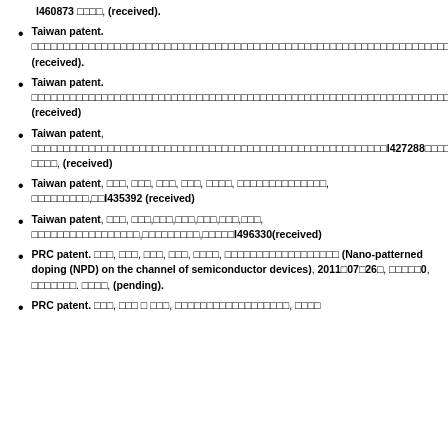I460873 □□□□, (received).
Taiwan patent. □□□□□□□□□□□□□□□□□□□□□□□□□□□□□□□□□□□□□□□□I475615 (received).
Taiwan patent. □□□□□□□□□□□□□□□□□□□□□□□□□□□□□□□□□□□□□□□□I462183 (received)
Taiwan patent, □□□□□□□□□□□□□□□□□□□□□□□□□□□□□I427288□□□□. □□□□, (received)
Taiwan patent, □□□, □□□, □□□, □□□, □□□□, □□□□□□□□□□□□□□, □□□□□□□□□,□□I435392 (received)
Taiwan patent, □□□, □□□,□□□,□□□,□□□,□□□,□□□, □□□□□□□□□□□□□□□□□,□□□□□□□□□,□□□□□I496330(received)
PRC patent. □□□, □□□, □□□, □□□, □□□□, □□□□□□□□□□□□□□□□□□ (Nano-patterned doping (NPD) on the channel of semiconductor devices), 2011□07□26□, □□□□□0, □□□□□□□. □□□□, (pending).
PRC patent. □□□, □□□ □ □□□, □□□□□□□□□□□□□□□□□□, □□□□